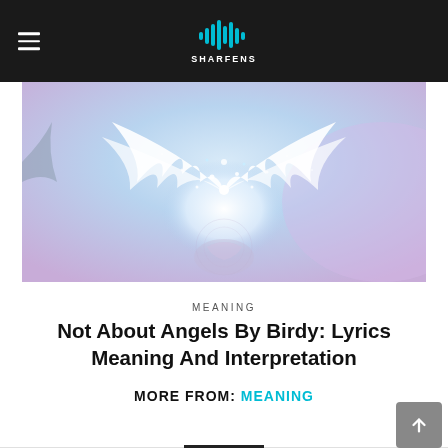SHARFENS
[Figure (illustration): Angel wings spread wide with glowing white feathers against a soft blue and purple sky background with sparkles and light effects]
MEANING
Not About Angels By Birdy: Lyrics Meaning And Interpretation
MORE FROM: MEANING